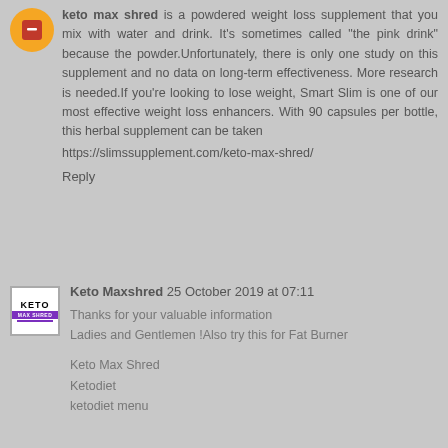keto max shred is a powdered weight loss supplement that you mix with water and drink. It's sometimes called "the pink drink" because the powder.Unfortunately, there is only one study on this supplement and no data on long-term effectiveness. More research is needed.If you're looking to lose weight, Smart Slim is one of our most effective weight loss enhancers. With 90 capsules per bottle, this herbal supplement can be taken https://slimssupplement.com/keto-max-shred/
Reply
Keto Maxshred 25 October 2019 at 07:11
Thanks for your valuable information
Ladies and Gentlemen !Also try this for Fat Burner
Keto Max Shred
Ketodiet
ketodiet menu